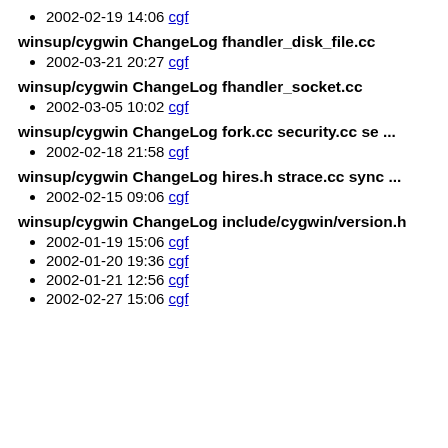2002-02-19 14:06 cgf
winsup/cygwin ChangeLog fhandler_disk_file.cc
2002-03-21 20:27 cgf
winsup/cygwin ChangeLog fhandler_socket.cc
2002-03-05 10:02 cgf
winsup/cygwin ChangeLog fork.cc security.cc se ...
2002-02-18 21:58 cgf
winsup/cygwin ChangeLog hires.h strace.cc sync ...
2002-02-15 09:06 cgf
winsup/cygwin ChangeLog include/cygwin/version.h
2002-01-19 15:06 cgf
2002-01-20 19:36 cgf
2002-01-21 12:56 cgf
2002-02-27 15:06 cgf